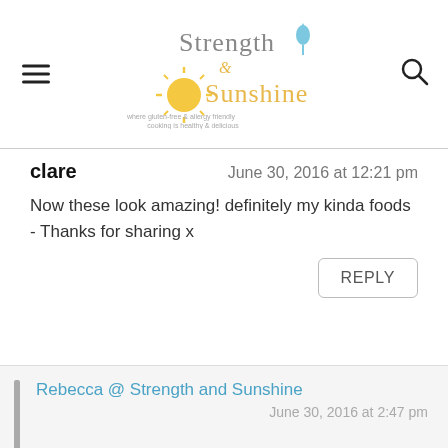Strength & Sunshine - where gluten-free & allergy friendly cooking is healthy & delicious
clare
June 30, 2016 at 12:21 pm
Now these look amazing! definitely my kinda foods - Thanks for sharing x
REPLY
Rebecca @ Strength and Sunshine
June 30, 2016 at 2:47 pm